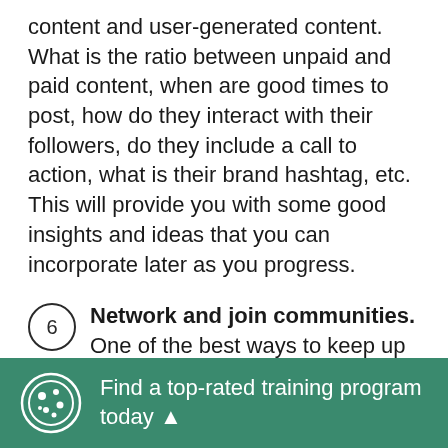content and user-generated content. What is the ratio between unpaid and paid content, when are good times to post, how do they interact with their followers, do they include a call to action, what is their brand hashtag, etc. This will provide you with some good insights and ideas that you can incorporate later as you progress.
6 Network and join communities. One of the best ways to keep up to date with industry trends, especially within social media, is to network with other social media marketers. Look to Facebook for Instagram marketing and social media groups. Also, check online for any digital marketing or social media networking events in your area or city.
Find a top-rated training program today ▲